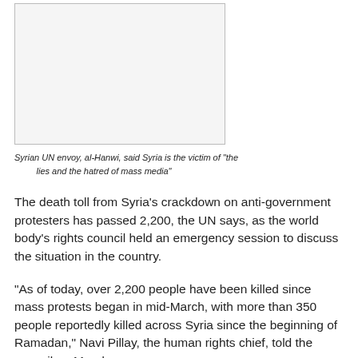[Figure (photo): Blank/placeholder image box representing Syrian UN envoy al-Hanwi photo]
Syrian UN envoy, al-Hanwi, said Syria is the victim of "the lies and the hatred of mass media"
The death toll from Syria's crackdown on anti-government protesters has passed 2,200, the UN says, as the world body's rights council held an emergency session to discuss the situation in the country.
"As of today, over 2,200 people have been killed since mass protests began in mid-March, with more than 350 people reportedly killed across Syria since the beginning of Ramadan," Navi Pillay, the human rights chief, told the council on Monday.
In Syria, activists told Al Jazeera that three more people were killed in the city of Homs on Monday, shortly after a UN humanitarian mission was deployed there to assess the situation on the ground. One of the dead was said to be a